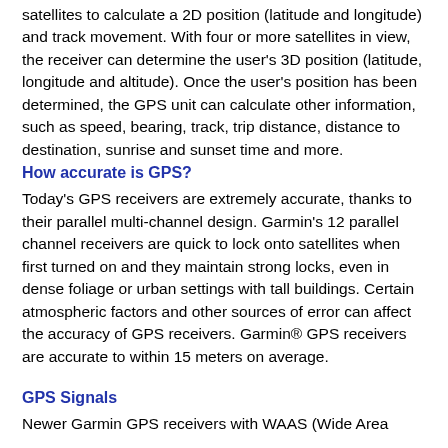satellites to calculate a 2D position (latitude and longitude) and track movement. With four or more satellites in view, the receiver can determine the user's 3D position (latitude, longitude and altitude). Once the user's position has been determined, the GPS unit can calculate other information, such as speed, bearing, track, trip distance, distance to destination, sunrise and sunset time and more.
How accurate is GPS?
Today's GPS receivers are extremely accurate, thanks to their parallel multi-channel design. Garmin's 12 parallel channel receivers are quick to lock onto satellites when first turned on and they maintain strong locks, even in dense foliage or urban settings with tall buildings. Certain atmospheric factors and other sources of error can affect the accuracy of GPS receivers. Garmin® GPS receivers are accurate to within 15 meters on average.
GPS Signals
Newer Garmin GPS receivers with WAAS (Wide Area